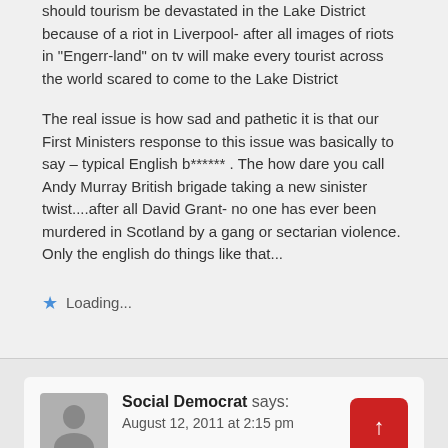should tourism be devastated in the Lake District because of a riot in Liverpool- after all images of riots in "Engerr-land" on tv will make every tourist across the world scared to come to the Lake District
The real issue is how sad and pathetic it is that our First Ministers response to this issue was basically to say – typical English b****** . The how dare you call Andy Murray British brigade taking a new sinister twist....after all David Grant- no one has ever been murdered in Scotland by a gang or sectarian violence. Only the english do things like that...
Loading...
Social Democrat says: August 12, 2011 at 2:15 pm